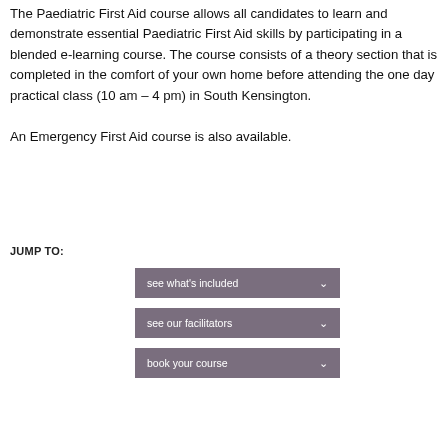The Paediatric First Aid course allows all candidates to learn and demonstrate essential Paediatric First Aid skills by participating in a blended e-learning course. The course consists of a theory section that is completed in the comfort of your own home before attending the one day practical class (10 am – 4 pm) in South Kensington. An Emergency First Aid course is also available.
JUMP TO:
see what's included
see our facilitators
book your course